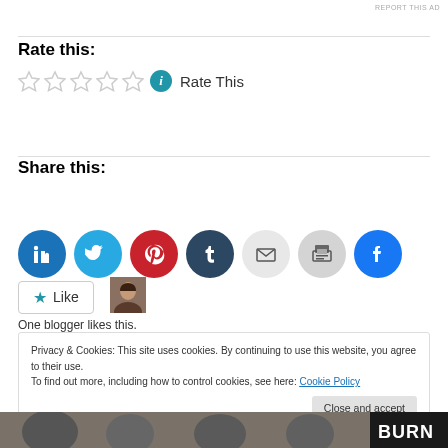REPORT THIS AD
Rate this:
Rate This
Share this:
[Figure (illustration): Social sharing buttons: LinkedIn, Twitter, Pinterest, Tumblr, Email, Print, Facebook]
[Figure (illustration): Like button with star icon and blogger avatar thumbnail]
One blogger likes this.
Privacy & Cookies: This site uses cookies. By continuing to use this website, you agree to their use.
To find out more, including how to control cookies, see here: Cookie Policy
Close and accept
[Figure (photo): Bottom strip showing partial faces/photos with BURN text overlay]